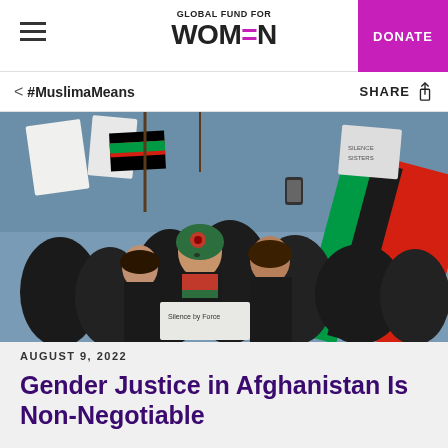GLOBAL FUND FOR WOMEN
DONATE
< #MuslimaMeans   SHARE
[Figure (photo): A group of women at an outdoor protest, many dressed in black, holding flags and signs including Afghan flags. A woman in center wears traditional Afghan dress with red and green accents. Signs partially visible including 'Silence by Force'.]
AUGUST 9, 2022
Gender Justice in Afghanistan Is Non-Negotiable